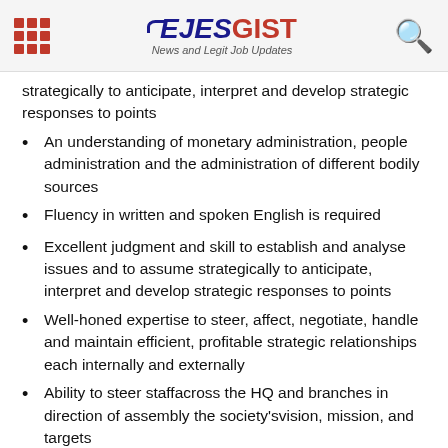EJESGIST News and Legit Job Updates
strategically to anticipate, interpret and develop strategic responses to points
An understanding of monetary administration, people administration and the administration of different bodily sources
Fluency in written and spoken English is required
Excellent judgment and skill to establish and analyse issues and to assume strategically to anticipate, interpret and develop strategic responses to points
Well-honed expertise to steer, affect, negotiate, handle and maintain efficient, profitable strategic relationships each internally and externally
Ability to steer staffacross the HQ and branches in direction of assembly the society'svision, mission, and targets
Awareness and willingness to reply tostakeholders to meet their wants, necessities and expectations